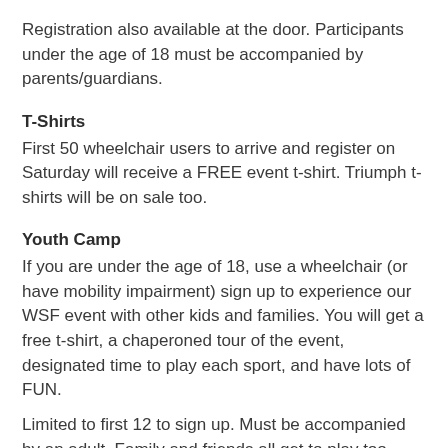Registration also available at the door. Participants under the age of 18 must be accompanied by parents/guardians.
T-Shirts
First 50 wheelchair users to arrive and register on Saturday will receive a FREE event t-shirt. Triumph t-shirts will be on sale too.
Youth Camp
If you are under the age of 18, use a wheelchair (or have mobility impairment) sign up to experience our WSF event with other kids and families. You will get a free t-shirt, a chaperoned tour of the event, designated time to play each sport, and have lots of FUN.
Limited to first 12 to sign up. Must be accompanied by an adult. Family and friends all get to play too. Register for Youth Camp
Lunch
BBQ Saturday | Pizza Sunday | $5 Lunch Special | FREE for challenged athletes.